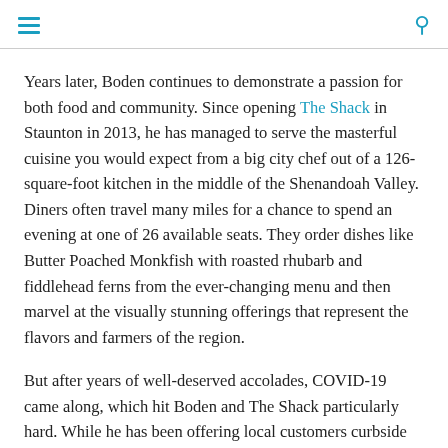[hamburger menu icon] [search icon]
Years later, Boden continues to demonstrate a passion for both food and community. Since opening The Shack in Staunton in 2013, he has managed to serve the masterful cuisine you would expect from a big city chef out of a 126-square-foot kitchen in the middle of the Shenandoah Valley. Diners often travel many miles for a chance to spend an evening at one of 26 available seats. They order dishes like Butter Poached Monkfish with roasted rhubarb and fiddlehead ferns from the ever-changing menu and then marvel at the visually stunning offerings that represent the flavors and farmers of the region.
But after years of well-deserved accolades, COVID-19 came along, which hit Boden and The Shack particularly hard. While he has been offering local customers curbside service several nights a week, his place is a destination restaurant,